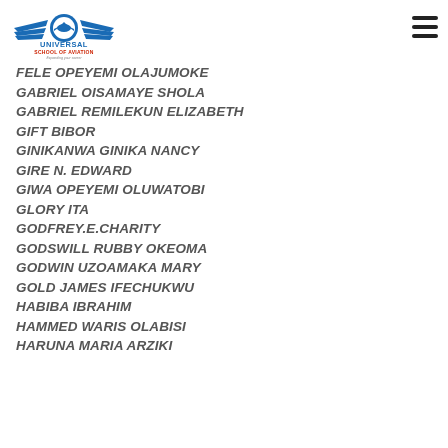[Figure (logo): Universal School of Aviation logo with airplane and wings]
FELE OPEYEMI OLAJUMOKE
GABRIEL OISAMAYE SHOLA
GABRIEL REMILEKUN ELIZABETH
GIFT BIBOR
GINIKANWA GINIKA NANCY
GIRE N. EDWARD
GIWA OPEYEMI OLUWATOBI
GLORY ITA
GODFREY.E.CHARITY
GODSWILL RUBBY OKEOMA
GODWIN UZOAMAKA MARY
GOLD JAMES IFECHUKWU
HABIBA IBRAHIM
HAMMED WARIS OLABISI
HARUNA MARIA ARZIKI